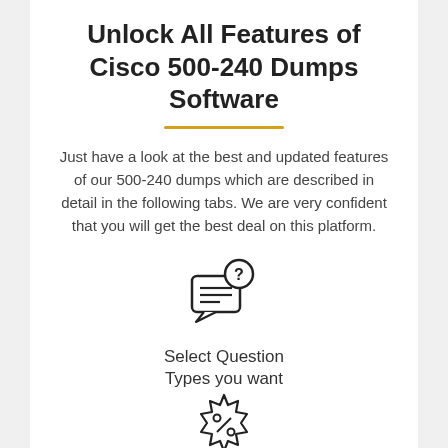Unlock All Features of Cisco 500-240 Dumps Software
Just have a look at the best and updated features of our 500-240 dumps which are described in detail in the following tabs. We are very confident that you will get the best deal on this platform.
[Figure (illustration): Speech bubble with question mark icon representing 'Select Question Types']
Select Question Types you want
[Figure (illustration): Badge/seal with percent sign icon representing 'Set your desired pass percentage']
Set your desired pass percentage